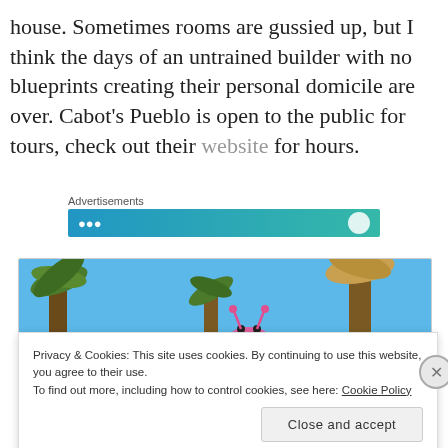house. Sometimes rooms are gussied up, but I think the days of an untrained builder with no blueprints creating their personal domicile are over. Cabot's Pueblo is open to the public for tours, check out their website for hours.
Advertisements
[Figure (photo): Photo of palm trees and a pink decorative object against a blue sky, partially visible behind the cookie consent banner.]
Privacy & Cookies: This site uses cookies. By continuing to use this website, you agree to their use.
To find out more, including how to control cookies, see here: Cookie Policy
Close and accept